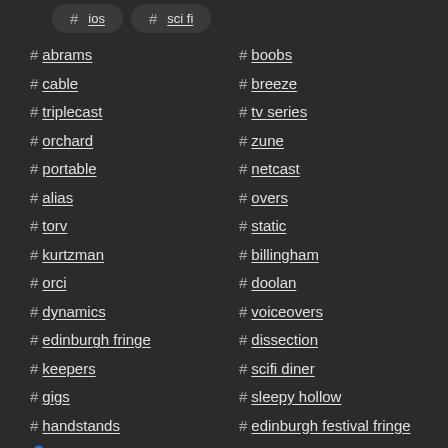# ios
# sci fi
# abrams
# boobs
# cable
# breeze
# triplecast
# tv series
# orchard
# zune
# portable
# netcast
# alias
# overs
# torv
# static
# kurtzman
# billingham
# orci
# doolan
# dynamics
# voiceovers
# edinburgh fringe
# dissection
# keepers
# scifi diner
# gigs
# sleepy hollow
# handstands
# edinburgh festival fringe
👤 janey godley
# herring